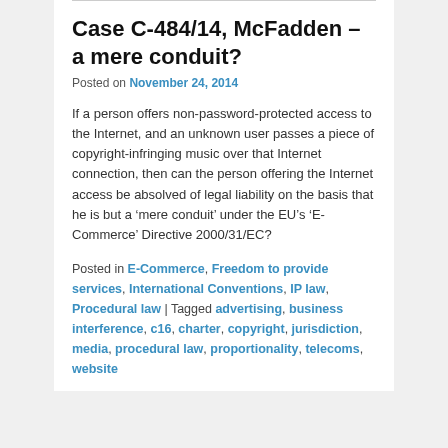Case C-484/14, McFadden – a mere conduit?
Posted on November 24, 2014
If a person offers non-password-protected access to the Internet, and an unknown user passes a piece of copyright-infringing music over that Internet connection, then can the person offering the Internet access be absolved of legal liability on the basis that he is but a ‘mere conduit’ under the EU’s ‘E-Commerce’ Directive 2000/31/EC?
Posted in E-Commerce, Freedom to provide services, International Conventions, IP law, Procedural law | Tagged advertising, business interference, c16, charter, copyright, jurisdiction, media, procedural law, proportionality, telecoms, website